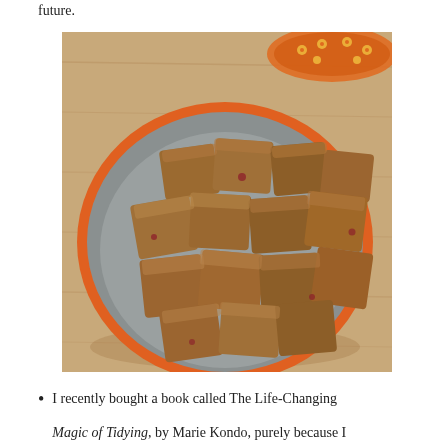future.
[Figure (photo): A gray bowl with an orange rim filled with pieces of chocolate fudge, placed on a wooden surface. An orange decorative tin lid is partially visible in the background.]
I recently bought a book called The Life-Changing
Magic of Tidying, by Marie Kondo, purely because I